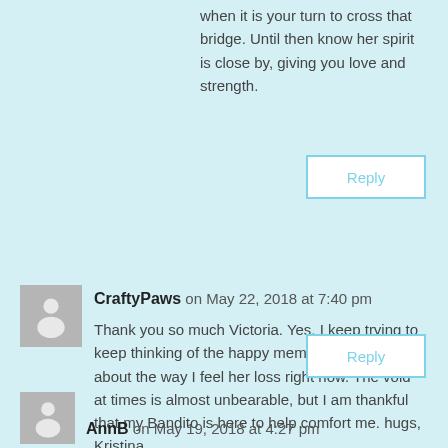when it is your turn to cross that bridge. Until then know her spirit is close by, giving you love and strength.
Reply
CraftyPaws on May 22, 2018 at 7:40 pm
Thank you so much Victoria. Yes, I keep trying to keep thinking of the happy memories rather than about the way I feel her loss right now. The void at times is almost unbearable, but I am thankful that my Bandito is here to help comfort me. hugs, Kristina
Reply
AnnB on May 19, 2018 at 4:27 pm